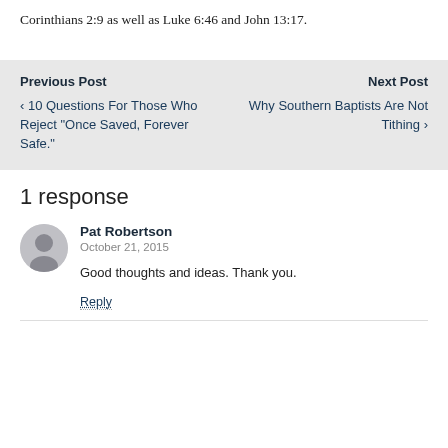Corinthians 2:9 as well as Luke 6:46 and John 13:17.
Previous Post
‹ 10 Questions For Those Who Reject "Once Saved, Forever Safe."
Next Post
Why Southern Baptists Are Not Tithing ›
1 response
Pat Robertson
October 21, 2015
Good thoughts and ideas. Thank you.
Reply